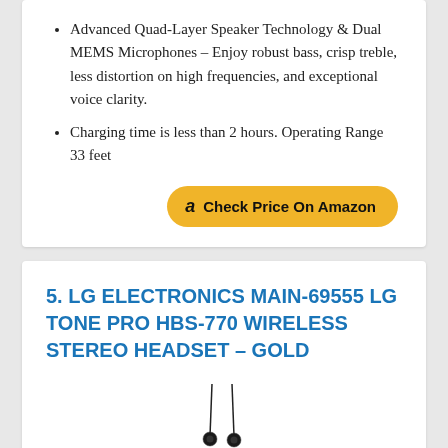Advanced Quad-Layer Speaker Technology & Dual MEMS Microphones – Enjoy robust bass, crisp treble, less distortion on high frequencies, and exceptional voice clarity.
Charging time is less than 2 hours. Operating Range 33 feet
[Figure (other): Amazon 'Check Price On Amazon' button with gold/yellow rounded pill shape and Amazon 'a' logo]
5. LG ELECTRONICS MAIN-69555 LG TONE PRO HBS-770 WIRELESS STEREO HEADSET – GOLD
[Figure (photo): Partial image of LG Tone Pro HBS-770 wireless stereo headset earbuds in gold/black, showing two earbuds with thin cables, cropped at bottom of page]